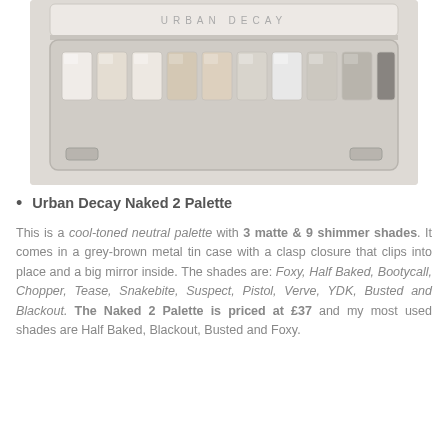[Figure (photo): Urban Decay Naked 2 Palette shown from above — a grey-brown metal tin case containing 10 eyeshadow pans in two rows, ranging from light ivory and champagne shades to medium taupe and dark charcoal/black. The case lid shows 'URBAN DECAY' lettering.]
Urban Decay Naked 2 Palette
This is a cool-toned neutral palette with 3 matte & 9 shimmer shades. It comes in a grey-brown metal tin case with a clasp closure that clips into place and a big mirror inside. The shades are: Foxy, Half Baked, Bootycall, Chopper, Tease, Snakebite, Suspect, Pistol, Verve, YDK, Busted and Blackout. The Naked 2 Palette is priced at £37 and my most used shades are Half Baked, Blackout, Busted and Foxy.